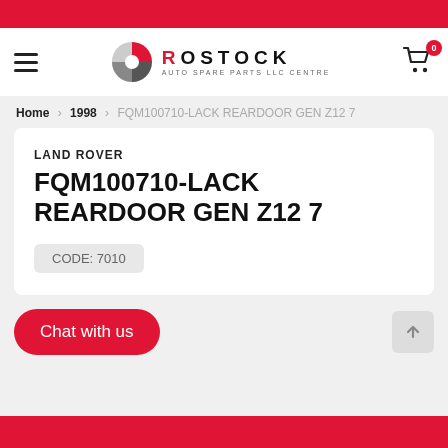[Figure (logo): Rostock Auto Spare Parts LLC Centre logo with circular wheel icon and brand name]
Home > 1998 > FQM100710-LACK REARDOOR GEN Z12 7
LAND ROVER
FQM100710-LACK REARDOOR GEN Z12 7
CODE: 7010
Chat with us